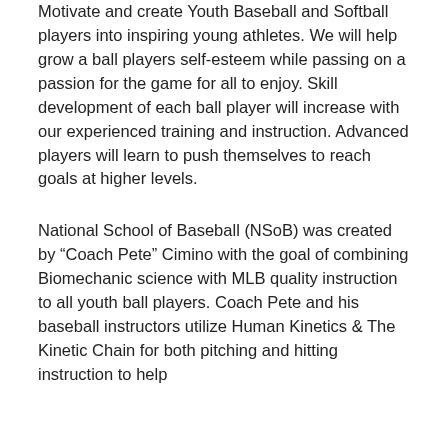Motivate and create Youth Baseball and Softball players into inspiring young athletes. We will help grow a ball players self-esteem while passing on a passion for the game for all to enjoy. Skill development of each ball player will increase with our experienced training and instruction. Advanced players will learn to push themselves to reach goals at higher levels.
National School of Baseball (NSoB) was created by “Coach Pete” Cimino with the goal of combining Biomechanic science with MLB quality instruction to all youth ball players. Coach Pete and his baseball instructors utilize Human Kinetics & The Kinetic Chain for both pitching and hitting instruction to help